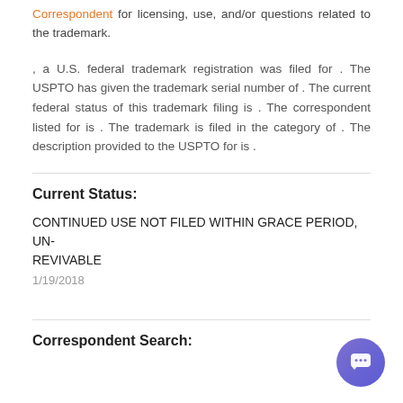Correspondent for licensing, use, and/or questions related to the trademark.
, a U.S. federal trademark registration was filed for . The USPTO has given the trademark serial number of . The current federal status of this trademark filing is . The correspondent listed for is . The trademark is filed in the category of . The description provided to the USPTO for is .
Current Status:
CONTINUED USE NOT FILED WITHIN GRACE PERIOD, UNREVIVABLE
1/19/2018
Correspondent Search: